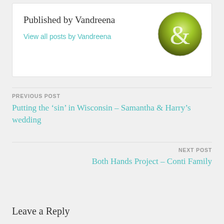Published by Vandreena
View all posts by Vandreena
[Figure (photo): Circular avatar image showing an ampersand symbol with bokeh green background]
PREVIOUS POST
Putting the ‘sin’ in Wisconsin – Samantha & Harry’s wedding
NEXT POST
Both Hands Project – Conti Family
Leave a Reply